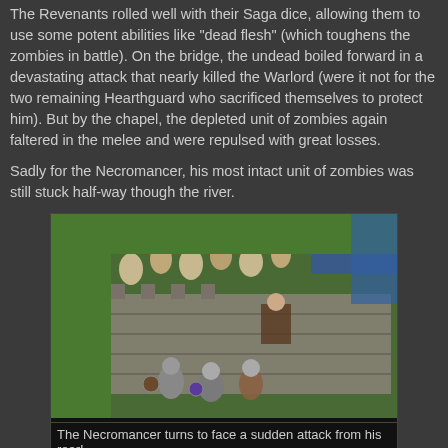The Revenants rolled well with their Saga dice, allowing them to use some potent abilities like "dead flesh" (which toughens the zombies in battle). On the bridge, the undead boiled forward in a devastating attack that nearly killed the Warlord (were it not for the two remaining Hearthguard who sacrificed themselves to protect him). But by the chapel, the depleted unit of zombies again faltered in the melee and were repulsed with great losses.
Sadly for the Necromancer, his most intact unit of zombies was still stuck half-way though the river.
[Figure (photo): Miniature wargame scene showing undead/zombie figures and Viking warriors on a stone bridge, viewed from above at an angle. Green grassy terrain, river in the background, miniatures in battle positions on a stone bridge.]
The Necromancer turns to face a sudden attack from his rear!
At this crucial juncture, the Viking player made a surprising...